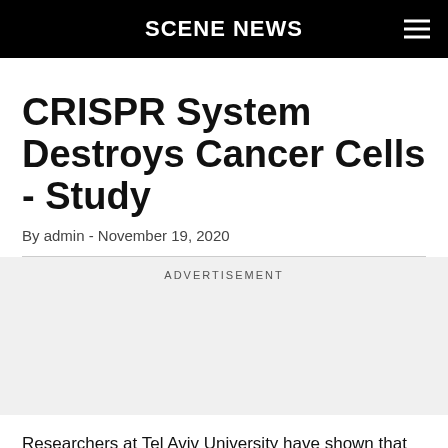SCENE NEWS
CRISPR System Destroys Cancer Cells - Study
By admin - November 19, 2020
ADVERTISEMENT
Researchers at Tel Aviv University have shown that the CRISPR / Cas9 system is very effective in treating